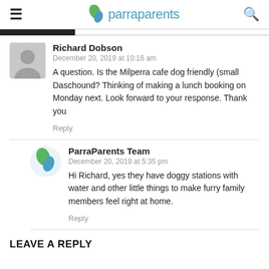parraparents
Richard Dobson
December 20, 2019 at 10:16 am
A question. Is the Milperra cafe dog friendly (small Daschound? Thinking of making a lunch booking on Monday next. Look forward to your response. Thank you
Reply
ParraParents Team
December 20, 2019 at 5:35 pm
Hi Richard, yes they have doggy stations with water and other little things to make furry family members feel right at home.
Reply
LEAVE A REPLY